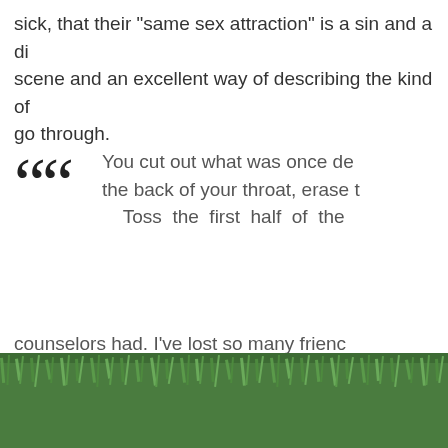sick, that their "same sex attraction" is a sin and a di scene and an excellent way of describing the kind of go through.
You cut out what was once de the back of your throat, erase t Toss the first half of the counselors had. I've lost so many frienc without talking to old boyfriends for y easy for me to ignore something I'd on without even trying. The truth is, bein post-LIA me that I didn't even have to th
[Figure (photo): Photograph of green grass, partial view at bottom of page]